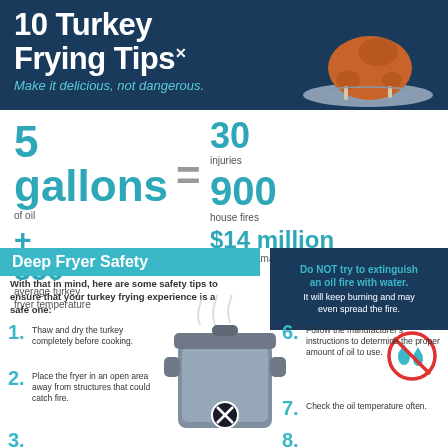10 Turkey Frying Tips
Make it delicious, not dangerous.
[Figure (infographic): Roasted turkey on a platter illustration in the header]
5 gallons of oil + 350° average turkey fryer temperature = 30 injuries, 900 house fires, $14 million property damages
Deep Fryer Safety
Do NOT try to extinguish an oil fire with water. It will keep burning and may even spread the fire.
With that in mind, here are some safety tips to ensure that your turkey frying experience is a safe one:
[Figure (illustration): No water / crossed-out water droplets icon (red circle with slash)]
1. Thaw and dry the turkey completely before cooking.
2. Place the fryer in an open area away from structures that could catch fire.
3. (partially visible)
6. Follow the manufacturer's instructions to determine the proper amount of oil to use.
7. Check the oil temperature often.
8. (partially visible)
[Figure (illustration): Large cooking pot/fryer illustration with steam rising and an X symbol at the bottom]